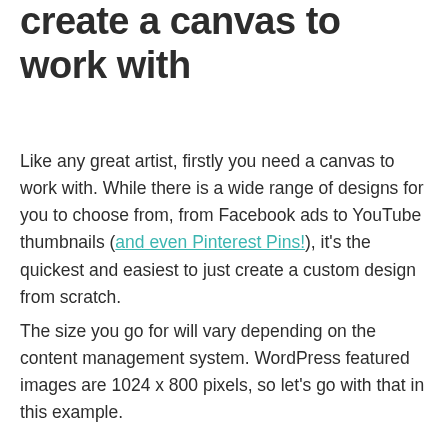create a canvas to work with
Like any great artist, firstly you need a canvas to work with. While there is a wide range of designs for you to choose from, from Facebook ads to YouTube thumbnails (and even Pinterest Pins!), it's the quickest and easiest to just create a custom design from scratch.
The size you go for will vary depending on the content management system. WordPress featured images are 1024 x 800 pixels, so let's go with that in this example.